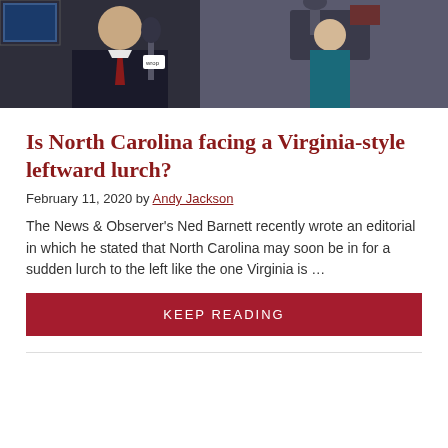[Figure (photo): Man in dark suit with red tie speaking at a radio studio microphone, woman in background at broadcasting equipment]
Is North Carolina facing a Virginia-style leftward lurch?
February 11, 2020 by Andy Jackson
The News & Observer's Ned Barnett recently wrote an editorial in which he stated that North Carolina may soon be in for a sudden lurch to the left like the one Virginia is …
KEEP READING